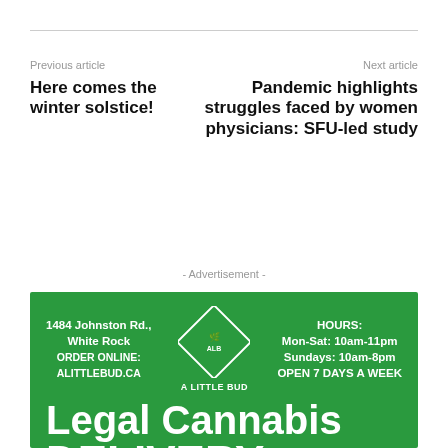Previous article | Next article
Here comes the winter solstice!
Pandemic highlights struggles faced by women physicians: SFU-led study
- Advertisement -
[Figure (infographic): A Little Bud cannabis store advertisement on green background. Shows address: 1484 Johnston Rd., White Rock. ORDER ONLINE: ALITTLEBUD.CA. Hours: Mon-Sat: 10am-11pm, Sundays: 10am-8pm, OPEN 7 DAYS A WEEK. Diamond logo with 'A LITTLE BUD' text. Large white text reading 'Legal Cannabis DELIVERY']